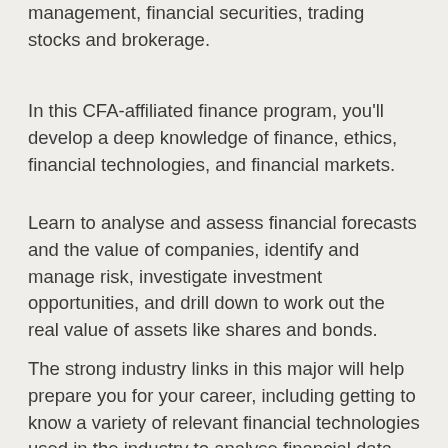management, financial securities, trading stocks and brokerage.
In this CFA-affiliated finance program, you'll develop a deep knowledge of finance, ethics, financial technologies, and financial markets.
Learn to analyse and assess financial forecasts and the value of companies, identify and manage risk, investigate investment opportunities, and drill down to work out the real value of assets like shares and bonds.
The strong industry links in this major will help prepare you for your career, including getting to know a variety of relevant financial technologies used in the industry to analyse financial data.
The Bachelor of Business with a major in Finance incorporates at least 70 per cent of the CFA Program Candidate Body of Knowledge, emphasising the CFA